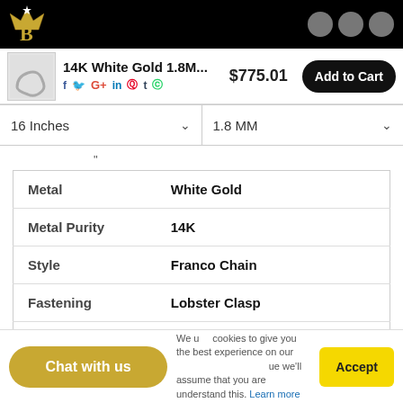[Figure (logo): Crown logo in gold on black background]
14K White Gold 1.8M...
$775.01
Add to Cart
16 Inches
1.8 MM
| Property | Value |
| --- | --- |
| Metal | White Gold |
| Metal Purity | 14K |
| Style | Franco Chain |
| Fastening | Lobster Clasp |
| Weight | 11.41 Grams to 15.69 Grams |
|  | 1.8MM |
Chat with us
We use cookies to give you the best experience on our website. If you continue we'll assume that you are understand this. Learn more
Accept